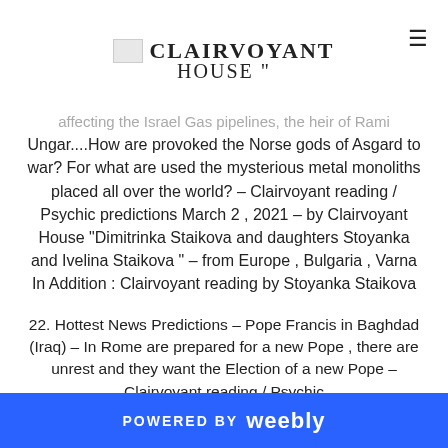CLAIRVOYANT HOUSE
affecting the Israel Gas pipelines, the heir of Rami Ungar....How are provoked the Norse gods of Asgard to war? For what are used the mysterious metal monoliths placed all over the world? – Clairvoyant reading / Psychic predictions March 2 , 2021 – by Clairvoyant House "Dimitrinka Staikova and daughters Stoyanka and Ivelina Staikova " – from Europe , Bulgaria , Varna
In Addition : Clairvoyant reading by Stoyanka Staikova
22. Hottest News Predictions – Pope Francis in Baghdad (Iraq) – In Rome are prepared for a new Pope , there are unrest and they want the Election of a new Pope – Clairvoyant reading / Psychic
POWERED BY weebly